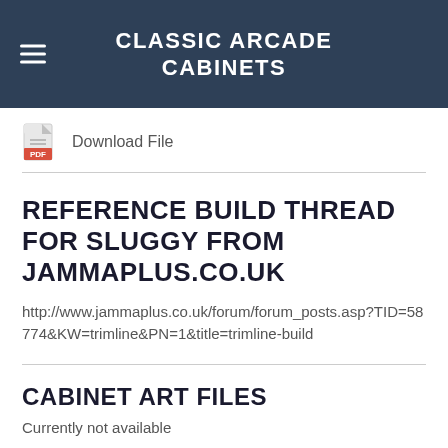CLASSIC ARCADE CABINETS
[Figure (other): PDF icon with Download File link]
REFERENCE BUILD THREAD FOR SLUGGY FROM JAMMAPLUS.CO.UK
http://www.jammaplus.co.uk/forum/forum_posts.asp?TID=58774&KW=trimline&PN=1&title=trimline-build
CABINET ART FILES
Currently not available